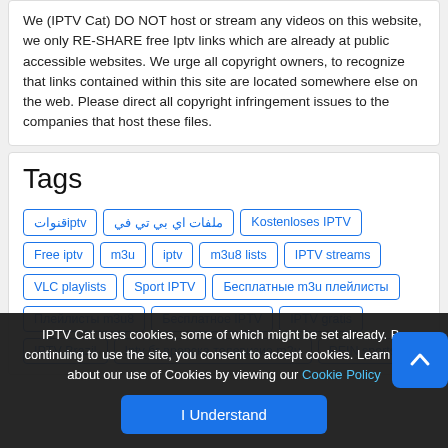We (IPTV Cat) DO NOT host or stream any videos on this website, we only RE-SHARE free Iptv links which are already at public accessible websites. We urge all copyright owners, to recognize that links contained within this site are located somewhere else on the web. Please direct all copyright infringement issues to the companies that host these files.
Tags
قنواتiptv | ملفات اي بي تي في | Kostenloses IPTV | Free iptv | m3u | iptv | m3u8 lists | IPTV streams | VLC playlists | Sport IPTV | Бесплатные m3u плейлисты | Плейлисты m3u8 | Бесплатное IPTV | IPTV gratis | IPTV Brazil | Iptv бг врарска телевизия m3u | REIN sports
IPTV Cat uses cookies, some of which might be set already. By continuing to use the site, you consent to accept cookies. Learn more about our use of Cookies by viewing our Cookie Policy